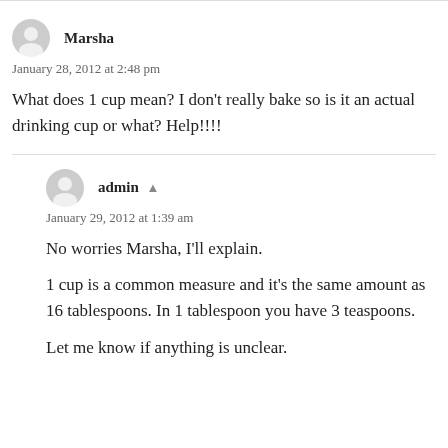Marsha
January 28, 2012 at 2:48 pm
What does 1 cup mean? I don't really bake so is it an actual drinking cup or what? Help!!!!
admin
January 29, 2012 at 1:39 am
No worries Marsha, I'll explain.
1 cup is a common measure and it's the same amount as 16 tablespoons. In 1 tablespoon you have 3 teaspoons.
Let me know if anything is unclear.